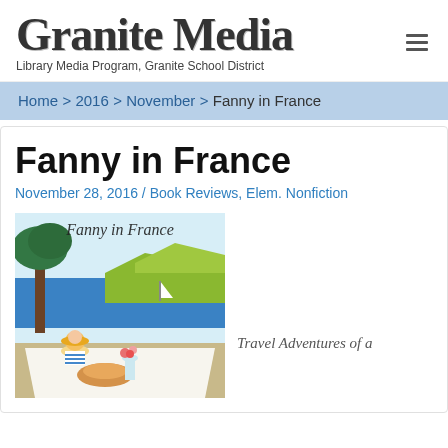Granite Media — Library Media Program, Granite School District
Home > 2016 > November > Fanny in France
Fanny in France
November 28, 2016 / Book Reviews, Elem. Nonfiction
[Figure (illustration): Book cover illustration for 'Fanny in France' showing a girl in a straw hat seated at an outdoor table with trees, blue sea, sailboat, and rolling fields in the background. Title written in script across the top.]
Travel Adventures of a